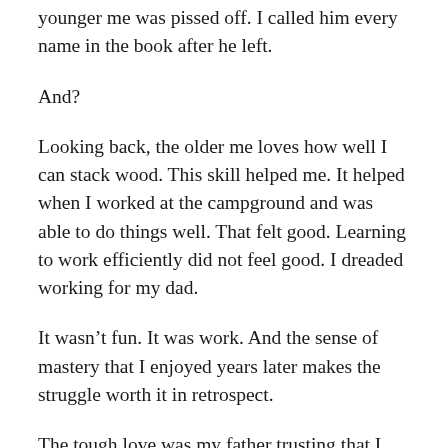younger me was pissed off. I called him every name in the book after he left.
And?
Looking back, the older me loves how well I can stack wood. This skill helped me. It helped when I worked at the campground and was able to do things well. That felt good. Learning to work efficiently did not feel good. I dreaded working for my dad.
It wasn’t fun. It was work. And the sense of mastery that I enjoyed years later makes the struggle worth it in retrospect.
The tough love was my father trusting that I could take having a pile of wood knocked down and betting that struggling would help me in the long run. It worked. Kinda. Good enough for the time.